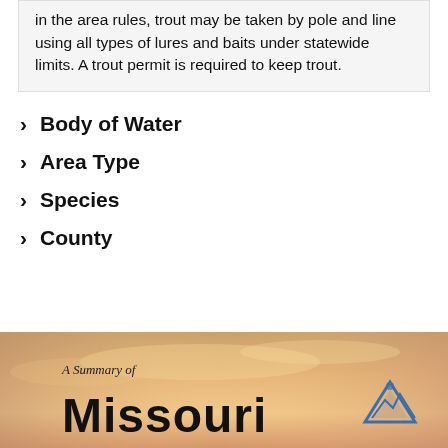in the area rules, trout may be taken by pole and line using all types of lures and baits under statewide limits. A trout permit is required to keep trout.
Body of Water
Area Type
Species
County
[Figure (photo): Bottom banner showing a sunset sky background with text 'A Summary of Missouri' and a triangular logo/icon on the right side.]